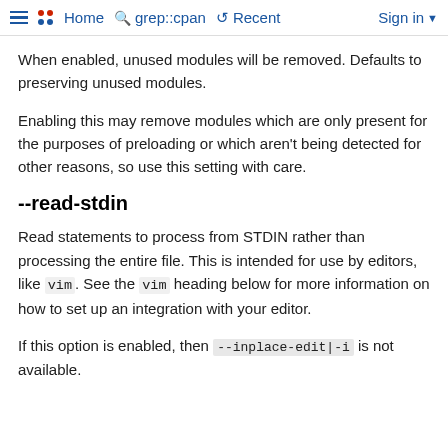≡ •• Home  🔍 grep::cpan  ↺ Recent  Sign in ▼
When enabled, unused modules will be removed. Defaults to preserving unused modules.
Enabling this may remove modules which are only present for the purposes of preloading or which aren't being detected for other reasons, so use this setting with care.
--read-stdin
Read statements to process from STDIN rather than processing the entire file. This is intended for use by editors, like vim. See the vim heading below for more information on how to set up an integration with your editor.
If this option is enabled, then --inplace-edit|-i is not available.